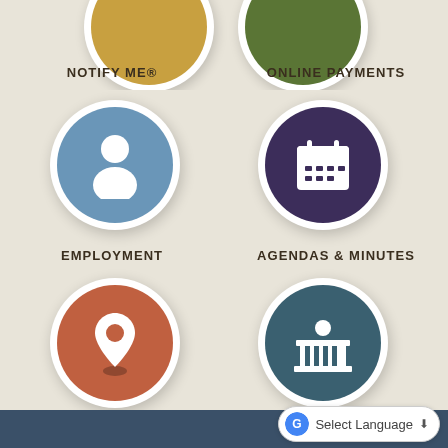[Figure (infographic): Partially visible circular icon at top-left: golden/tan colored circle (NOTIFY ME®)]
NOTIFY ME®
[Figure (infographic): Partially visible circular icon at top-right: olive green colored circle (ONLINE PAYMENTS)]
ONLINE PAYMENTS
[Figure (infographic): Blue circle with white person/user icon (EMPLOYMENT)]
EMPLOYMENT
[Figure (infographic): Dark purple circle with white calendar icon (AGENDAS & MINUTES)]
AGENDAS & MINUTES
[Figure (infographic): Orange-red circle with white map pin/location icon (CONTACT US)]
CONTACT US
[Figure (infographic): Dark teal circle with white government building/courthouse icon (MUNICIPAL CODE)]
MUNICIPAL CODE
Select Language